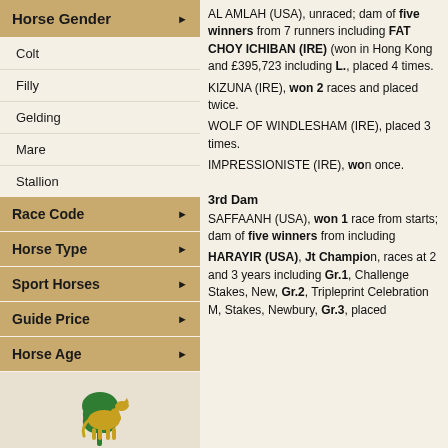Horse Gender
Colt
Filly
Gelding
Mare
Stallion
Race Code
Horse Type
Sport Horses
Guide Price
Horse Age
[Figure (logo): Irish Thoroughbred Marketing logo — green shamrock with yellow horse silhouette]
AL AMLAH (USA), unraced; dam of five winners from 7 runners including FAT CHOY ICHIBAN (IRE) (won in Hong Kong and £395,723 including in L., placed 4 times. KIZUNA (IRE), won 2 races and placed twice. WOLF OF WINDLESHAM (IRE), placed 3 times. IMPRESSIONISTE (IRE), won once.
3rd Dam
SAFFAANH (USA), won 1 race from starts; dam of five winners from including HARAYIR (USA), Jt Champion, races at 2 and 3 years including Gr.1, Challenge Stakes, New, Gr.2, Tripleprint Celebration M, Stakes, Newbury, Gr.3, placed